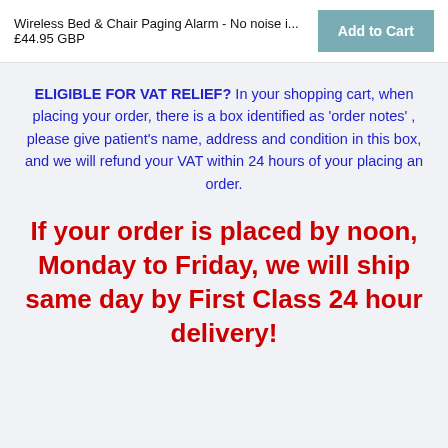Wireless Bed & Chair Paging Alarm - No noise i... £44.95 GBP | Add to Cart
ELIGIBLE FOR VAT RELIEF? In your shopping cart, when placing your order, there is a box identified as 'order notes' , please give patient's name, address and condition in this box, and we will refund your VAT within 24 hours of your placing an order.
If your order is placed by noon, Monday to Friday, we will ship same day by First Class 24 hour delivery!